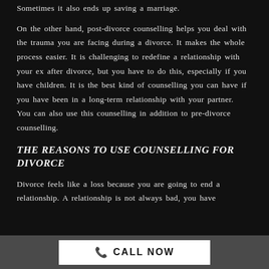Sometimes it also ends up saving a marriage.
On the other hand, post-divorce counselling helps you deal with the trauma you are facing during a divorce. It makes the whole process easier. It is challenging to redefine a relationship with your ex after divorce, but you have to do this, especially if you have children. It is the best kind of counselling you can have if you have been in a long-term relationship with your partner.   You can also use this counselling in addition to pre-divorce counselling.
THE REASONS TO USE COUNSELLING FOR DIVORCE
Divorce feels like a loss because you are going to end a relationship. A relationship is not always bad, you have
CALL NOW